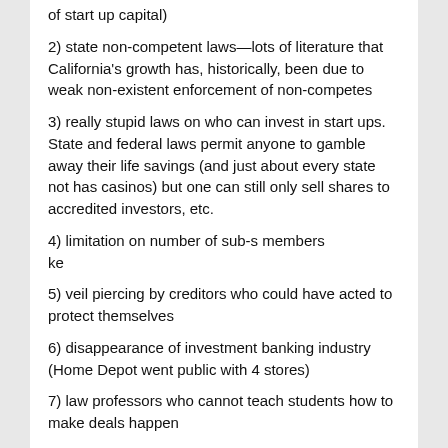of start up capital)
2) state non-competent laws—lots of literature that California's growth has, historically, been due to weak non-existent enforcement of non-competes
3) really stupid laws on who can invest in start ups. State and federal laws permit anyone to gamble away their life savings (and just about every state not has casinos) but one can still only sell shares to accredited investors, etc.
4) limitation on number of sub-s members
ke
5) veil piercing by creditors who could have acted to protect themselves
6) disappearance of investment banking industry (Home Depot went public with 4 stores)
7) law professors who cannot teach students how to make deals happen
For example, how many of your students could help A & B form a sub-s, buy the assets of an existing bar or restaurant from a bank at a secured creditors auction, and be in business in 5 days?